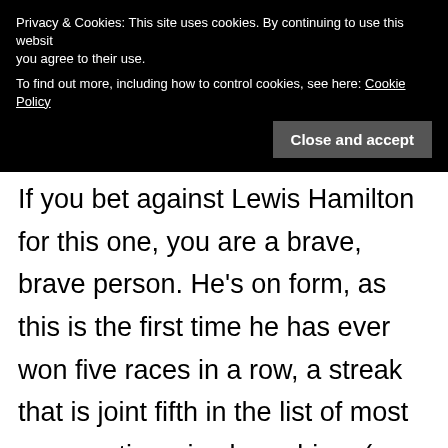[Figure (screenshot): Cookie consent banner overlay on a webpage. Black background with white text reading: 'Privacy & Cookies: This site uses cookies. By continuing to use this website you agree to their use. To find out more, including how to control cookies, see here: Cookie Policy' and a 'Close and accept' button.]
If you bet against Lewis Hamilton for this one, you are a brave, brave person. He's on form, as this is the first time he has ever won five races in a row, a streak that is joint fifth in the list of most consecutive wins by a driver (a record, like many others, currently held by Sebastian Vettel). He has won the same number of races in the last five rounds as he did during his entire championship-winning 2008 season.